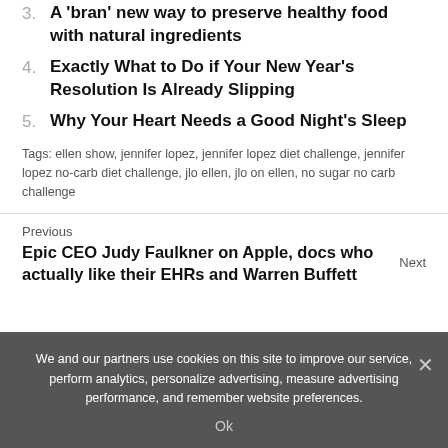3. A 'bran' new way to preserve healthy food with natural ingredients
4. Exactly What to Do if Your New Year's Resolution Is Already Slipping
5. Why Your Heart Needs a Good Night's Sleep
Tags: ellen show, jennifer lopez, jennifer lopez diet challenge, jennifer lopez no-carb diet challenge, jlo ellen, jlo on ellen, no sugar no carb challenge
Previous
Epic CEO Judy Faulkner on Apple, docs who actually like their EHRs and Warren Buffett
Next
We and our partners use cookies on this site to improve our service, perform analytics, personalize advertising, measure advertising performance, and remember website preferences.
Ok